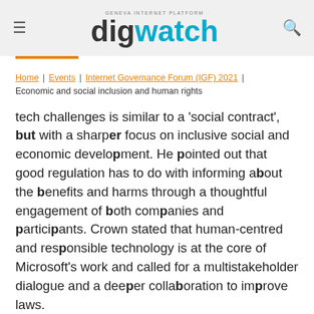digwatch — Geneva Internet Platform
Home | Events | Internet Governance Forum (IGF) 2021 | Economic and social inclusion and human rights
tech challenges is similar to a 'social contract', but with a sharper focus on inclusive social and economic development. He pointed out that good regulation has to do with informing about the benefits and harms through a thoughtful engagement of both companies and participants. Crown stated that human-centred and responsible technology is at the core of Microsoft's work and called for a multistakeholder dialogue and a deeper collaboration to improve laws.